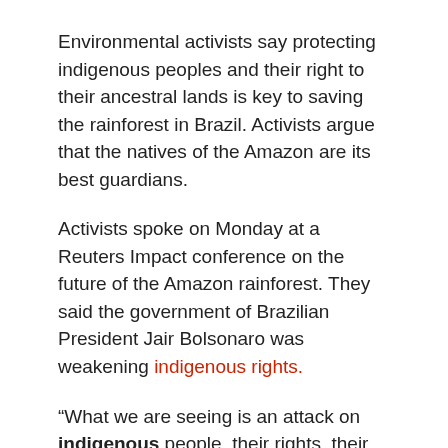Environmental activists say protecting indigenous peoples and their right to their ancestral lands is key to saving the rainforest in Brazil. Activists argue that the natives of the Amazon are its best guardians.
Activists spoke on Monday at a Reuters Impact conference on the future of the Amazon rainforest. They said the government of Brazilian President Jair Bolsonaro was weakening indigenous rights.
“What we are seeing is an attack on indigenous people, their rights, their lives and their territories, â€ said Leila Salazar-Lopez. She is the head of Amazon Watch, an environmental group based in Oakland, California.
Ginger Cassady is director of the San Francisco-based Rainforest Action Network. She said the actions of the Bolsonaro government continued to increase deforestation. She said the